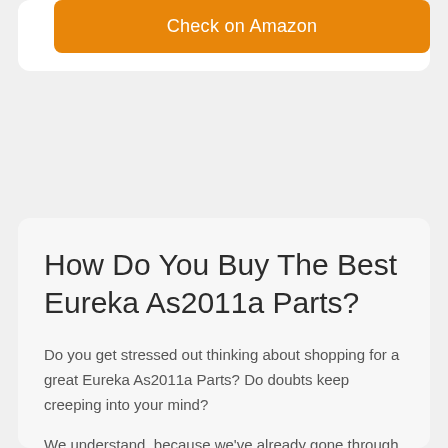[Figure (other): Orange 'Check on Amazon' button inside a white card]
How Do You Buy The Best Eureka As2011a Parts?
Do you get stressed out thinking about shopping for a great Eureka As2011a Parts? Do doubts keep creeping into your mind?
We understand, because we've already gone through the whole process of researching Eureka As2011a Parts, which is why we have assembled a comprehensive list of the greatest Eureka As2011a